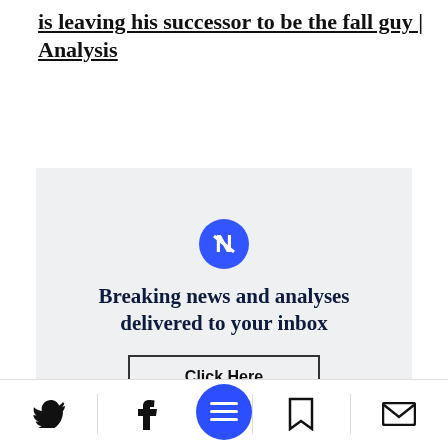is leaving his successor to be the fall guy | Analysis
[Figure (infographic): Newsletter signup box with icon, heading 'Breaking news and analyses delivered to your inbox', and a 'Click Here' button]
The Finance Ministry released its updated forecast now even though it is not required to,
Social share bar with Twitter, Facebook, menu, bookmark, and email icons